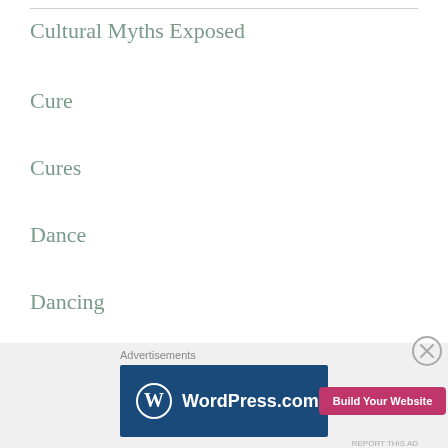Cultural Myths Exposed
Cure
Cures
Dance
Dancing
Dardania
Dardanus
[Figure (other): WordPress.com advertisement banner with 'Build Your Website' button and close (X) button]